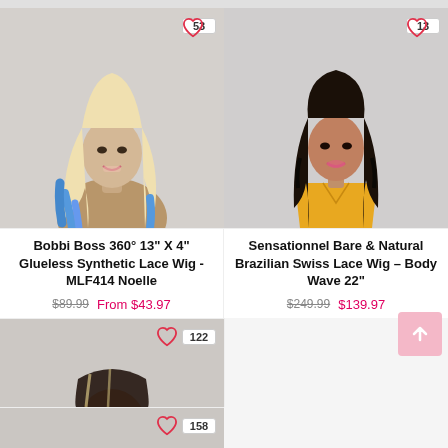[Figure (photo): Woman wearing a long blonde and blue ombre wavy synthetic lace wig, smiling, wearing a gold outfit]
[Figure (photo): Woman wearing a long dark wavy Brazilian Swiss lace wig, wearing a yellow/mustard strapless top]
Bobbi Boss 360° 13" X 4" Glueless Synthetic Lace Wig - MLF414 Noelle
$89.99  From $43.97
Sensationnel Bare & Natural Brazilian Swiss Lace Wig – Body Wave 22"
$249.99  $139.97
[Figure (photo): Partial view of woman wearing a highlighted lace wig (bottom row left)]
[Figure (photo): Partial view of woman wearing a highlighted lace wig (bottom row right)]